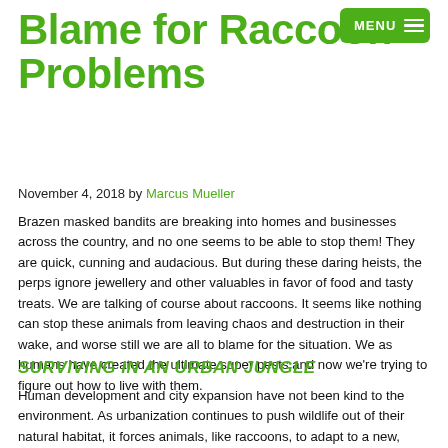Blame for Raccoon Problems
November 4, 2018 by Marcus Mueller
Brazen masked bandits are breaking into homes and businesses across the country, and no one seems to be able to stop them! They are quick, cunning and audacious. But during these daring heists, the perps ignore jewellery and other valuables in favor of food and tasty treats. We are talking of course about raccoons. It seems like nothing can stop these animals from leaving chaos and destruction in their wake, and worse still we are all to blame for the situation. We as humans have created the ultimate super pests and now we're trying to figure out how to live with them.
SURVIVING IN AN URBAN JUNGLE
Human development and city expansion have not been kind to the environment. As urbanization continues to push wildlife out of their natural habitat, it forces animals, like raccoons, to adapt to a new, less-friendly, human environment. And adapt they do. The ability of raccoons to exploit human resources actually makes them more